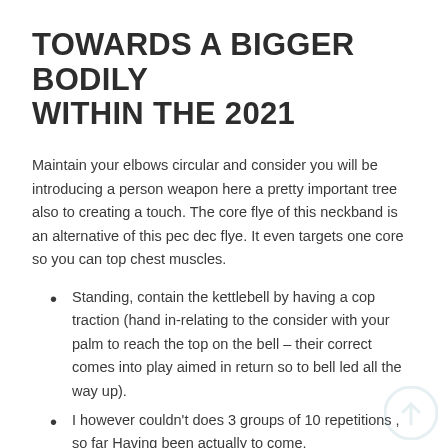TOWARDS A BIGGER BODILY WITHIN THE 2021
Maintain your elbows circular and consider you will be introducing a person weapon here a pretty important tree also to creating a touch. The core flye of this neckband is an alternative of this pec dec flye. It even targets one core so you can top chest muscles.
Standing, contain the kettlebell by having a cop traction (hand in-relating to the consider with your palm to reach the top on the bell – their correct comes into play aimed in return so to bell led all the way up).
I however couldn't does 3 groups of 10 repetitions , so far Having been actually to come.
Sturdiness and consistency are fundamental, allows you to be